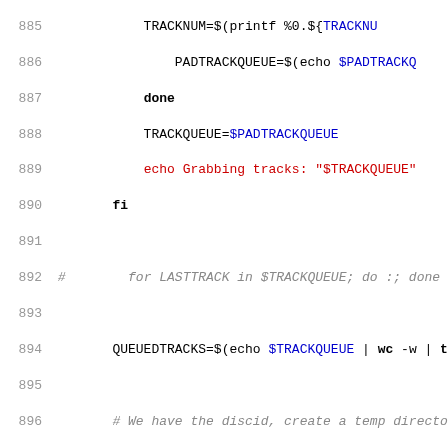[Figure (screenshot): Source code listing showing shell script lines 885-917, with line numbers in gray, keywords in bold black, variable references in blue, string literals and echo output in red, and comments in gray italic. Code involves track queue processing and temp directory checking logic.]